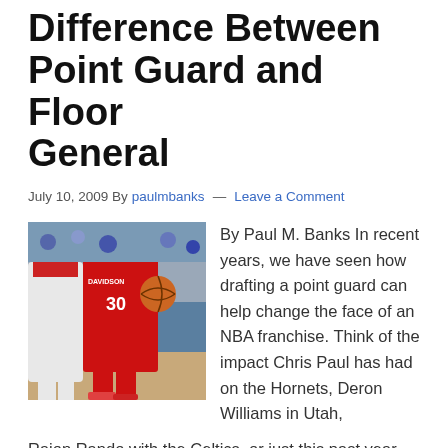Difference Between Point Guard and Floor General
July 10, 2009 By paulmbanks — Leave a Comment
[Figure (photo): Basketball players in action, one in a red Davidson jersey number 30 driving past a defender in white]
By Paul M. Banks In recent years, we have seen how drafting a point guard can help change the face of an NBA franchise. Think of the impact Chris Paul has had on the Hornets, Deron Williams in Utah, Rajon Rando with the Celtics, or just this past year, what Derrick Rose brought to the Bulls. And the crop of point guard prospects in this past draft was the deepest of this …
… [Read more...]